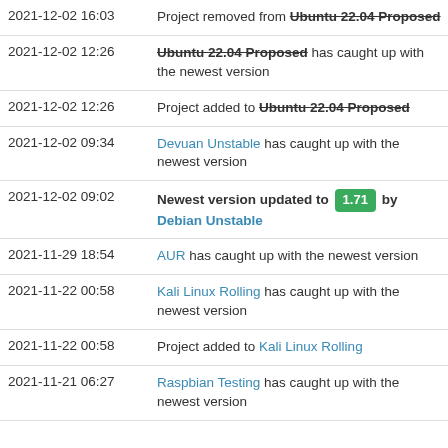| Date | Event |
| --- | --- |
| 2021-12-02 16:03 | Project removed from Ubuntu 22.04 Proposed |
| 2021-12-02 12:26 | Ubuntu 22.04 Proposed has caught up with the newest version |
| 2021-12-02 12:26 | Project added to Ubuntu 22.04 Proposed |
| 2021-12-02 09:34 | Devuan Unstable has caught up with the newest version |
| 2021-12-02 09:02 | Newest version updated to 1.71 by Debian Unstable |
| 2021-11-29 18:54 | AUR has caught up with the newest version |
| 2021-11-22 00:58 | Kali Linux Rolling has caught up with the newest version |
| 2021-11-22 00:58 | Project added to Kali Linux Rolling |
| 2021-11-21 06:27 | Raspbian Testing has caught up with the newest version |